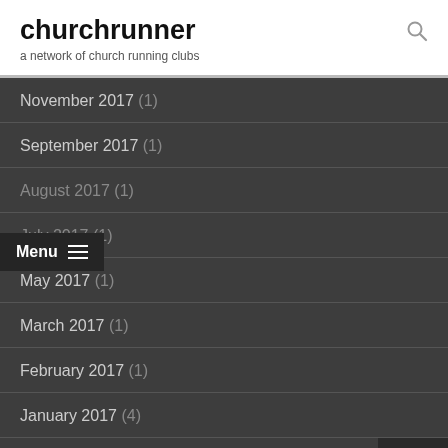churchrunner
a network of church running clubs
November 2017 (1)
September 2017 (1)
August 2017 (1)
July 2017 (1)
May 2017 (1)
March 2017 (1)
February 2017 (1)
January 2017 (4)
December 2016 (3)
November 2016 (2)